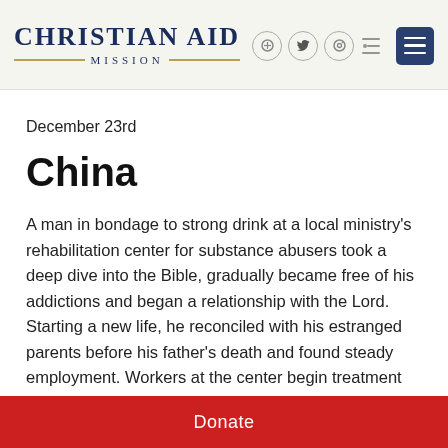Christian Aid Mission
December 23rd
China
A man in bondage to strong drink at a local ministry's rehabilitation center for substance abusers took a deep dive into the Bible, gradually became free of his addictions and began a relationship with the Lord. Starting a new life, he reconciled with his estranged parents before his father's death and found steady employment. Workers at the center begin treatment by telling
Donate